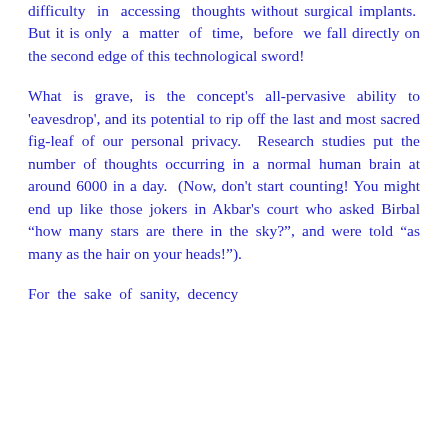difficulty in accessing thoughts without surgical implants.  But it is only a matter of time, before we fall directly on the second edge of this technological sword!
What is grave, is the concept's all-pervasive ability to 'eavesdrop', and its potential to rip off the last and most sacred fig-leaf of our personal privacy.  Research studies put the number of thoughts occurring in a normal human brain at around 6000 in a day.  (Now, don't start counting! You might end up like those jokers in Akbar's court who asked Birbal “how many stars are there in the sky?”, and were told “as many as the hair on your heads!”).
For the sake of sanity, decency